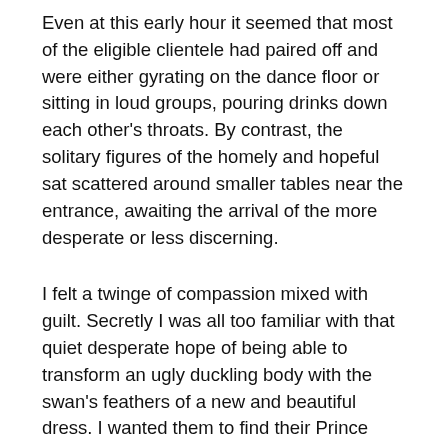Even at this early hour it seemed that most of the eligible clientele had paired off and were either gyrating on the dance floor or sitting in loud groups, pouring drinks down each other's throats. By contrast, the solitary figures of the homely and hopeful sat scattered around smaller tables near the entrance, awaiting the arrival of the more desperate or less discerning.
I felt a twinge of compassion mixed with guilt. Secretly I was all too familiar with that quiet desperate hope of being able to transform an ugly duckling body with the swan's feathers of a new and beautiful dress. I wanted them to find their Prince Charmings, because no-one deserves to be rejected for something they cannot help or